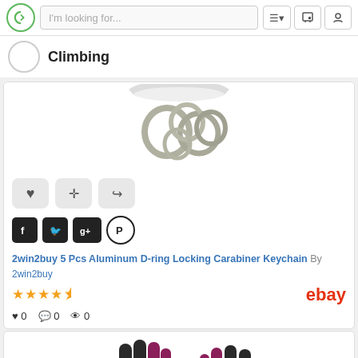I'm looking for...
Climbing
[Figure (photo): Product image of 5 aluminum D-ring locking carabiner keychains, metallic silver, on white background]
2win2buy 5 Pcs Aluminum D-ring Locking Carabiner Keychain By 2win2buy
4.5 star rating, sold on eBay, 0 likes, 0 comments, 0 views
[Figure (photo): Product image of climbing gloves in black and purple/maroon color, two gloves shown side by side]